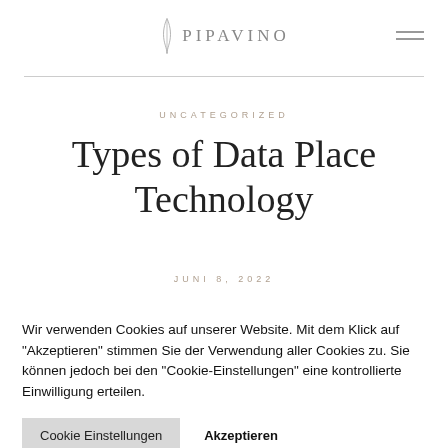PIPAVINO
UNCATEGORIZED
Types of Data Place Technology
JUNI 8, 2022
Wir verwenden Cookies auf unserer Website. Mit dem Klick auf "Akzeptieren" stimmen Sie der Verwendung aller Cookies zu. Sie können jedoch bei den "Cookie-Einstellungen" eine kontrollierte Einwilligung erteilen.
Cookie Einstellungen
Akzeptieren